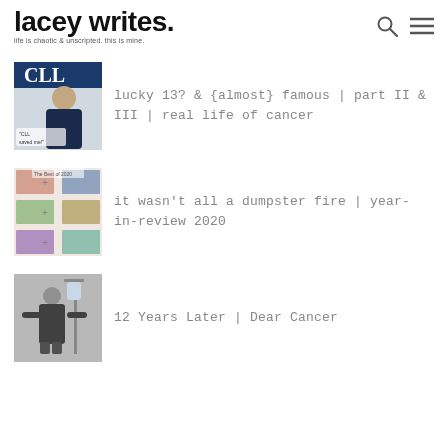lacey writes. life is chaotic & unscripted. this is mine.
[Figure (photo): Blog post thumbnail showing a woman on a CLL magazine cover with text 'CLL saved me!']
lucky 13? & {almost} famous | part II & III | real life of cancer
[Figure (photo): Blog post thumbnail showing a year-in-review collage with photos and plus signs]
it wasn't all a dumpster fire | year-in-review 2020
[Figure (photo): Blog post thumbnail showing a black and white photo of a woman standing next to an IV pole]
12 Years Later | Dear Cancer